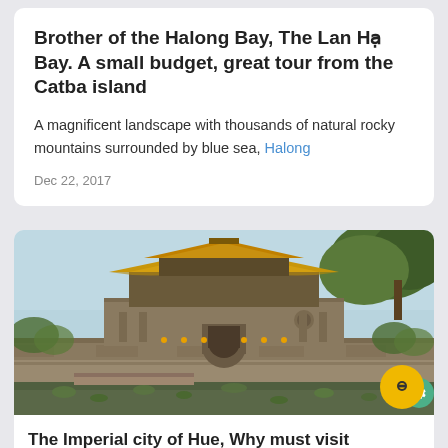Brother of the Halong Bay, The Lan Hạ Bay. A small budget, great tour from the Catba island
A magnificent landscape with thousands of natural rocky mountains surrounded by blue sea, Halong
Dec 22, 2017
[Figure (photo): Photo of the Imperial city of Hue, Vietnam — a large ancient fortress/citadel with multi-tiered traditional Vietnamese roof structures (yellow/gold tiled roofs with dark brown wooden architecture), stone walls, and a moat with lily pads in the foreground. Trees are visible on the right side against a hazy blue sky.]
The Imperial city of Hue, Why must visit